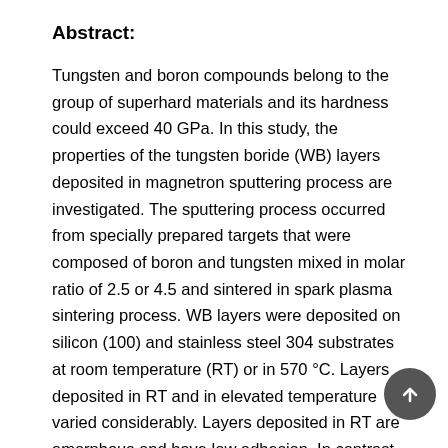Abstract:
Tungsten and boron compounds belong to the group of superhard materials and its hardness could exceed 40 GPa. In this study, the properties of the tungsten boride (WB) layers deposited in magnetron sputtering process are investigated. The sputtering process occurred from specially prepared targets that were composed of boron and tungsten mixed in molar ratio of 2.5 or 4.5 and sintered in spark plasma sintering process. WB layers were deposited on silicon (100) and stainless steel 304 substrates at room temperature (RT) or in 570 °C. Layers deposited in RT and in elevated temperature varied considerably. Layers deposited in RT are amorphous and have low adhesion. In contrast, the layers deposited in 570 °C are crystalline and have good adhesion. All deposited